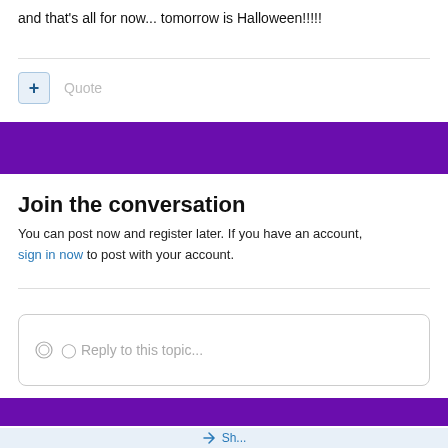and that's all for now... tomorrow is Halloween!!!!!
Quote
Join the conversation
You can post now and register later. If you have an account, sign in now to post with your account.
Reply to this topic...